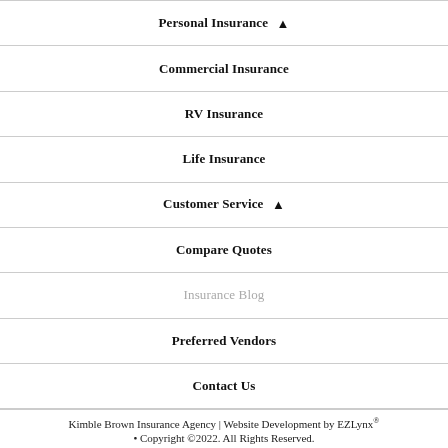Personal Insurance ▲
Commercial Insurance
RV Insurance
Life Insurance
Customer Service ▲
Compare Quotes
Insurance Blog
Preferred Vendors
Contact Us
Kimble Brown Insurance Agency | Website Development by EZLynx® • Copyright ©2022. All Rights Reserved.